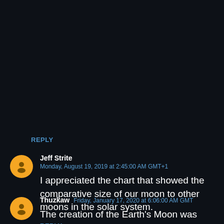REPLY
Jeff Strite
Monday, August 19, 2019 at 2:45:00 AM GMT+1
I appreciated the chart that showed the comparative size of our moon to other moons in the solar system.
REPLY
Thuzkaw
Friday, January 17, 2020 at 6:06:00 AM GMT
The creation of the Earth's Moon was